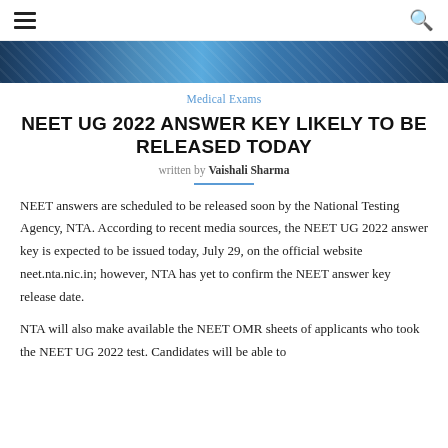≡   🔍
[Figure (photo): Close-up photo of medical/scientific items with blue tones]
Medical Exams
NEET UG 2022 ANSWER KEY LIKELY TO BE RELEASED TODAY
written by Vaishali Sharma
NEET answers are scheduled to be released soon by the National Testing Agency, NTA. According to recent media sources, the NEET UG 2022 answer key is expected to be issued today, July 29, on the official website neet.nta.nic.in; however, NTA has yet to confirm the NEET answer key release date.
NTA will also make available the NEET OMR sheets of applicants who took the NEET UG 2022 test. Candidates will be able to